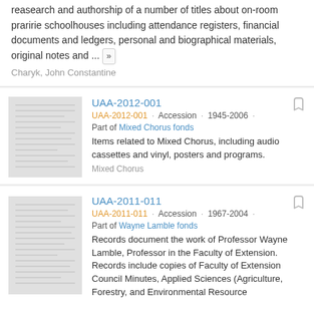reasearch and authorship of a number of titles about on-room praririe schoolhouses including attendance registers, financial documents and ledgers, personal and biographical materials, original notes and ...
Charyk, John Constantine
UAA-2012-001
UAA-2012-001 · Accession · 1945-2006 · Part of Mixed Chorus fonds
Items related to Mixed Chorus, including audio cassettes and vinyl, posters and programs.
Mixed Chorus
UAA-2011-011
UAA-2011-011 · Accession · 1967-2004 · Part of Wayne Lamble fonds
Records document the work of Professor Wayne Lamble, Professor in the Faculty of Extension. Records include copies of Faculty of Extension Council Minutes, Applied Sciences (Agriculture, Forestry, and Environmental Resource Management, and Department Program...